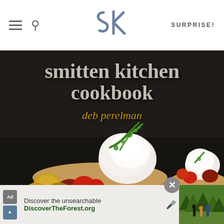SURPRISE!
[Figure (logo): Smitten Kitchen 'sk' stylized logo in slate blue]
[Figure (photo): Book cover of 'smitten kitchen cookbook' by deb perelman showing biscuits topped with tomatoes and cream cheese on a dark background]
smitten kitchen cookbook
deb perelman
[Figure (photo): Advertisement thumbnail showing people hiking in a forest]
Discover the unsearchable
DiscoverTheForest.org